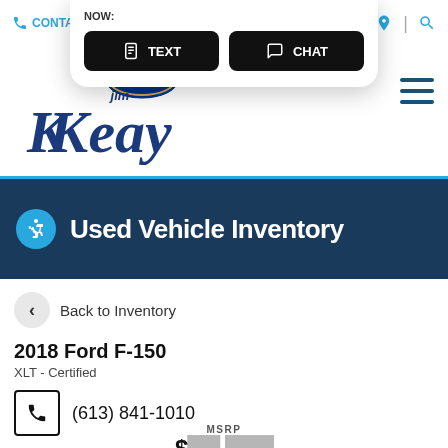CONTACT
[Figure (screenshot): Popup overlay with TEXT and CHAT buttons on black rounded rectangle buttons]
[Figure (logo): Jim Keay Ford dealership logo in blue serif lettering]
Used Vehicle Inventory
Back to Inventory
2018 Ford F-150
XLT - Certified
(613) 841-1010
MSRP
$